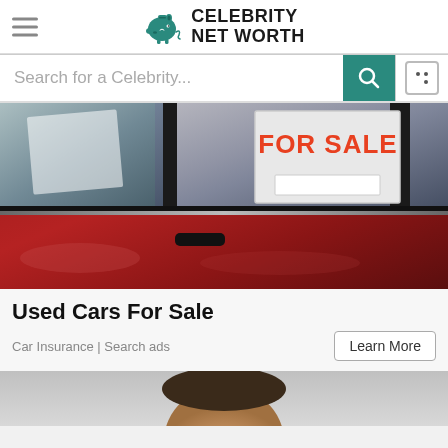Celebrity Net Worth
Search for a Celebrity...
[Figure (photo): Red car with a 'FOR SALE' sign visible in the rear window, close-up side view showing door, window, and chrome strip.]
Used Cars For Sale
Car Insurance | Search ads
Learn More
[Figure (photo): Partial view of a person's face/head at the bottom of the page.]